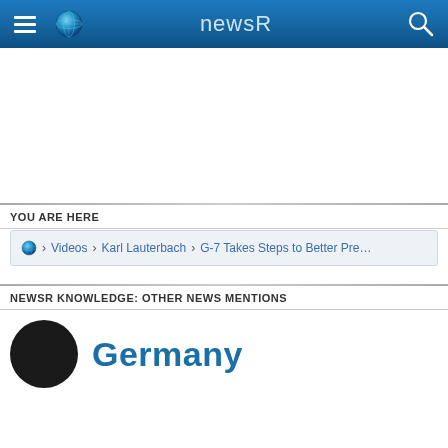newsR
YOU ARE HERE
🌐 > Videos > Karl Lauterbach > G-7 Takes Steps to Better Pre...
NEWSR KNOWLEDGE: OTHER NEWS MENTIONS
Germany